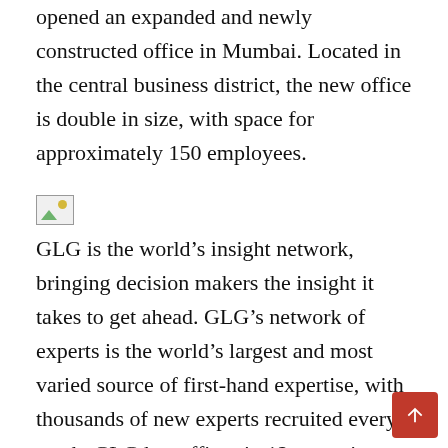opened an expanded and newly constructed office in Mumbai. Located in the central business district, the new office is double in size, with space for approximately 150 employees.
[Figure (illustration): Broken/placeholder image icon (small thumbnail with green mountain and yellow circle)]
GLG is the world’s insight network, bringing decision makers the insight it takes to get ahead. GLG’s network of experts is the world’s largest and most varied source of first-hand expertise, with thousands of new experts recruited every week. GLG has offices in 12 countries around the world and has had a presence in India since 2006.